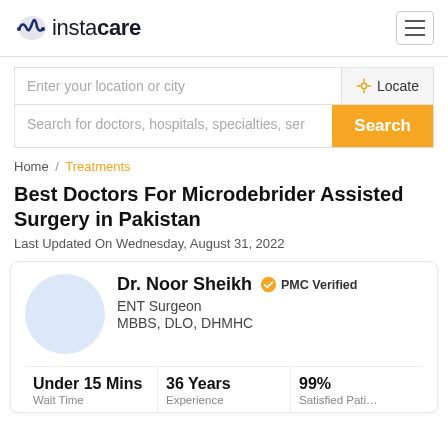instacare
Enter your location or city
Locate
Search for doctors, hospitals, specialties, ser
Search
Home / Treatments
Best Doctors For Microdebrider Assisted Surgery in Pakistan
Last Updated On Wednesday, August 31, 2022
Dr. Noor Sheikh PMC Verified
ENT Surgeon
MBBS, DLO, DHMHC
| Wait Time | Experience | Satisfied Patients |
| --- | --- | --- |
| Under 15 Mins | 36 Years | 99% |